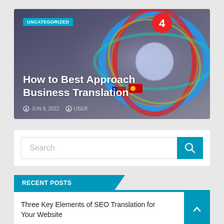[Figure (illustration): Blog post hero image with orbital globe graphic featuring flags and a number 4 badge, dark background with colorful orbital rings]
UNCATEGORIZED
How to Best Approach Business Translation
JUN 9, 2022  USER
Search
RECENT POSTS
Three Key Elements of SEO Translation for Your Website